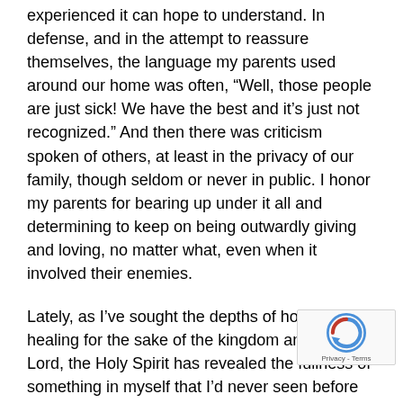experienced it can hope to understand. In defense, and in the attempt to reassure themselves, the language my parents used around our home was often, “Well, those people are just sick! We have the best and it’s just not recognized.” And then there was criticism spoken of others, at least in the privacy of our family, though seldom or never in public. I honor my parents for bearing up under it all and determining to keep on being outwardly giving and loving, no matter what, even when it involved their enemies.
Lately, as I’ve sought the depths of holiness and healing for the sake of the kingdom and my Lord, the Holy Spirit has revealed the fullness of something in myself that I’d never seen before because it had been so deeply programmed into me in the heat of childhood persecution and pain aimed at our family. Deep down inside has been a root of that old defensive hubris I grew